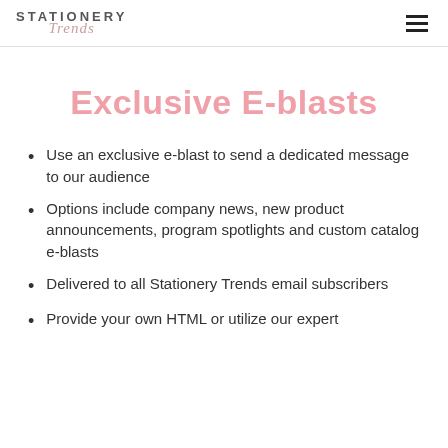STATIONERY Trends
Exclusive E-blasts
Use an exclusive e-blast to send a dedicated message to our audience
Options include company news, new product announcements, program spotlights and custom catalog e-blasts
Delivered to all Stationery Trends email subscribers
Provide your own HTML or utilize our expert